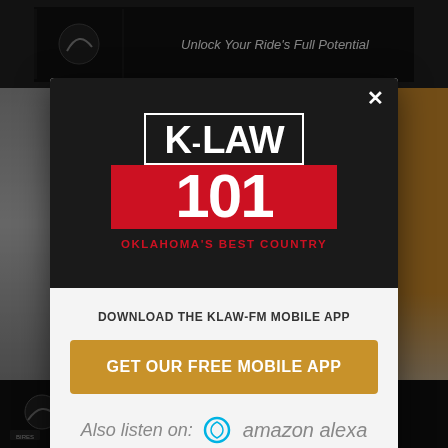[Figure (screenshot): Background website content showing a dark motorcycle service ad at the top with text 'Unlock Your Ride's Full Potential', blurred side content, and a bottom ad banner with same ad repeated.]
[Figure (logo): K-LAW 101 radio station logo. Black background with white bordered box showing 'K-LAW' in white text, red box below with '101' in white, and red text 'OKLAHOMA'S BEST COUNTRY' beneath.]
DOWNLOAD THE KLAW-FM MOBILE APP
GET OUR FREE MOBILE APP
Also listen on:  amazon alexa